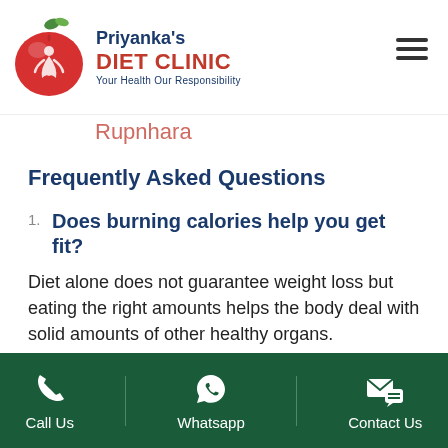[Figure (logo): Priyanka's Diet Clinic logo with red apple and woman silhouette, with text: Priyanka's DIET CLINIC Your Health Our Responsibility]
Frequently Asked Questions
1. Does burning calories help you get fit?
Diet alone does not guarantee weight loss but eating the right amounts helps the body deal with solid amounts of other healthy organs.
2. Would I really need to have any
Call Us   Whatsapp   Contact Us